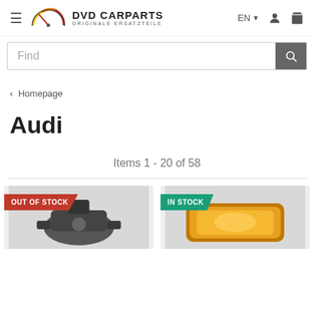DvD CarParts — ORIGINALE ERSATZTEILE
Find
‹ Homepage
Audi
Items 1 - 20 of 58
[Figure (photo): Product with OUT OF STOCK badge — car part (starter motor)]
[Figure (photo): Product with IN STOCK badge — car part (amber turn signal lamp)]